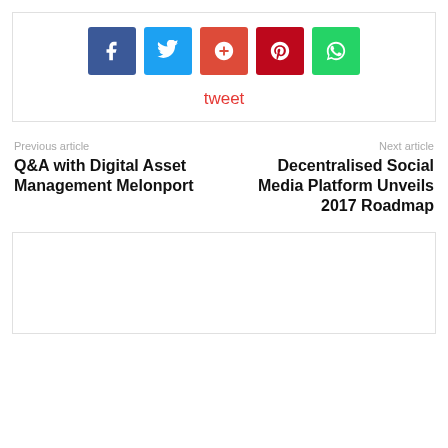[Figure (infographic): Social share buttons: Facebook (blue), Twitter (light blue), Google+ (red-orange), Pinterest (dark red), WhatsApp (green), with a 'tweet' link below in red]
tweet
Previous article
Q&A with Digital Asset Management Melonport
Next article
Decentralised Social Media Platform Unveils 2017 Roadmap
[Figure (other): Empty white box with border at the bottom of the page]